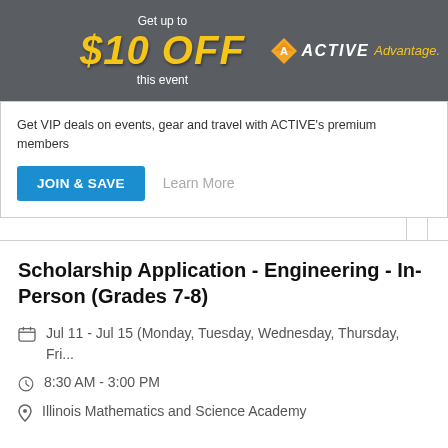[Figure (infographic): ACTIVE Advantage promotional banner: 'Get up to $10 OFF this event' with Active Advantage logo on dark grey background]
Get VIP deals on events, gear and travel with ACTIVE's premium members
JOIN & SAVE | Learn More
Scholarship Application - Engineering - In-Person (Grades 7-8)
Jul 11 - Jul 15 (Monday, Tuesday, Wednesday, Thursday, Fri...
8:30 AM - 3:00 PM
Illinois Mathematics and Science Academy
$0.00